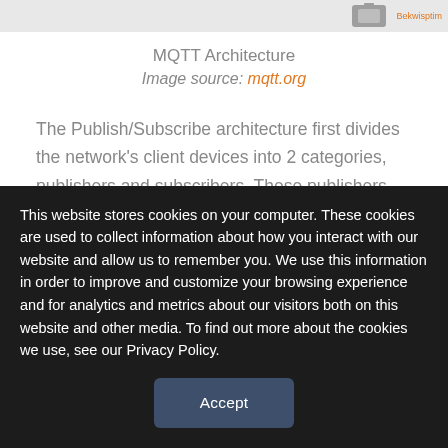MQTT Architecture
Image source: mqtt.org
The Publish/Subscribe architecture first divides the network's client devices into 2 categories, publishers and subscribers. These publishers are devices or nodes that input data to the system. On the other hand, the subscribers are the end devices or nodes that receive the data
This website stores cookies on your computer. These cookies are used to collect information about how you interact with our website and allow us to remember you. We use this information in order to improve and customize your browsing experience and for analytics and metrics about our visitors both on this website and other media. To find out more about the cookies we use, see our Privacy Policy.